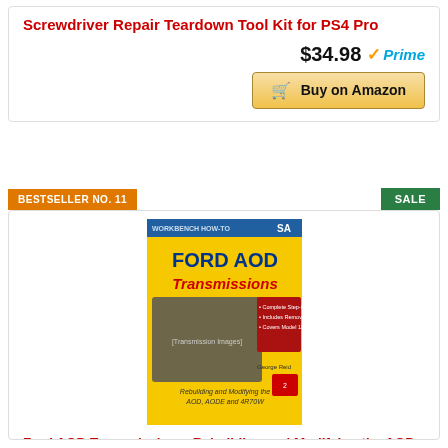Screwdriver Repair Teardown Tool Kit for PS4 Pro
$34.98 Prime
Buy on Amazon
BESTSELLER NO. 11
SALE
[Figure (photo): Book cover: Ford AOD Transmissions - Rebuilding and Modifying the AOD, AODE and 4R70W (SA Design Workbench How-To)]
Ford AOD Transmissions: Rebuilding and Modifying the AOD, AODE and 4R70W (SA Design Workbench How-To)